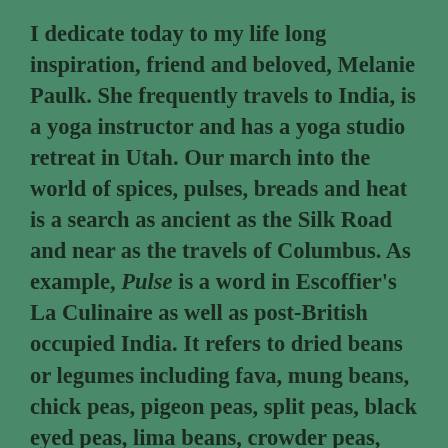I dedicate today to my life long inspiration, friend and beloved, Melanie Paulk. She frequently travels to India, is a yoga instructor and has a yoga studio retreat in Utah. Our march into the world of spices, pulses, breads and heat is a search as ancient as the Silk Road and near as the travels of Columbus. As example, Pulse is a word in Escoffier's La Culinaire as well as post-British occupied India. It refers to dried beans or legumes including fava, mung beans, chick peas, pigeon peas, split peas, black eyed peas, lima beans, crowder peas, cranberry beans, navy beans, red beans, etc. Learn the language of the Indian kitchen, then learn the dishes. In research and travel we find there are things quite similar between culinary cultures. Then there are those things that seem like they are from another world, which in some cases is close to social fact.